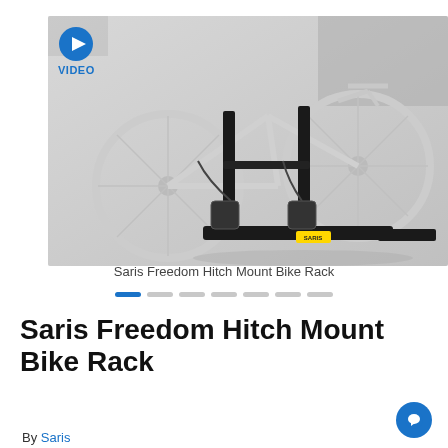[Figure (photo): Saris Freedom Hitch Mount Bike Rack product photo showing a black hitch-mount bike rack holding a white bicycle, with a blue VIDEO play button badge in the top-left corner. Background is light gray.]
Saris Freedom Hitch Mount Bike Rack
[Figure (other): Carousel navigation dots: 7 dots, first one is blue/active, rest are gray]
Saris Freedom Hitch Mount Bike Rack
By Saris